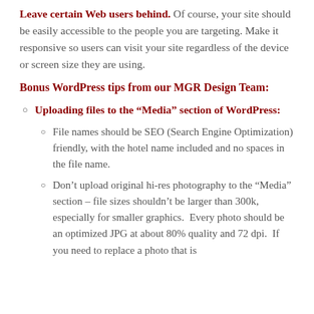Leave certain Web users behind. Of course, your site should be easily accessible to the people you are targeting. Make it responsive so users can visit your site regardless of the device or screen size they are using.
Bonus WordPress tips from our MGR Design Team:
Uploading files to the “Media” section of WordPress:
File names should be SEO (Search Engine Optimization) friendly, with the hotel name included and no spaces in the file name.
Don’t upload original hi-res photography to the “Media” section – file sizes shouldn’t be larger than 300k, especially for smaller graphics. Every photo should be an optimized JPG at about 80% quality and 72 dpi. If you need to replace a photo that is